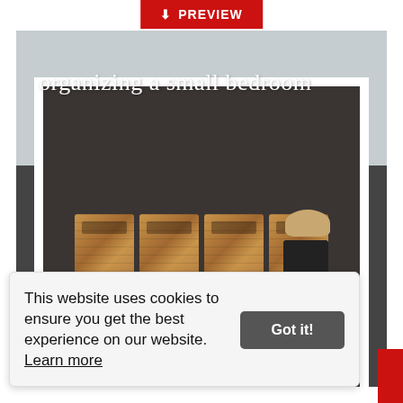PREVIEW
[Figure (photo): A organized small bedroom closet with wicker storage baskets on a shelf above and clothes hanging on a rod below. White frame borders the closet opening. A hat and black appliance visible on right side.]
organizing a small bedroom
This website uses cookies to ensure you get the best experience on our website. Learn more
Got it!